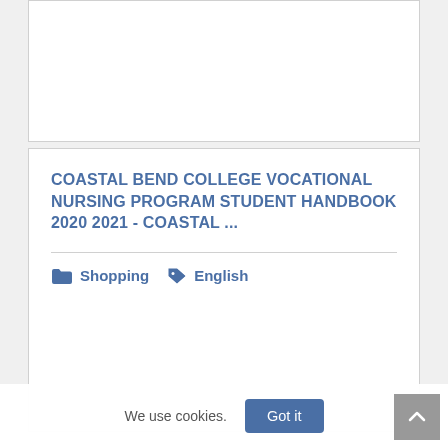COASTAL BEND COLLEGE VOCATIONAL NURSING PROGRAM STUDENT HANDBOOK 2020 2021 - COASTAL ...
Shopping  English
We use cookies.